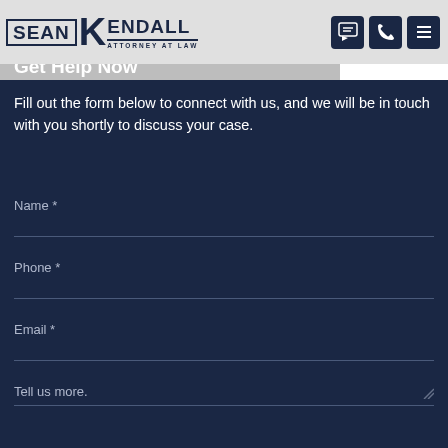SEAN KENDALL ATTORNEY AT LAW
Get Help Now
Fill out the form below to connect with us, and we will be in touch with you shortly to discuss your case.
Name *
Phone *
Email *
Tell us more.